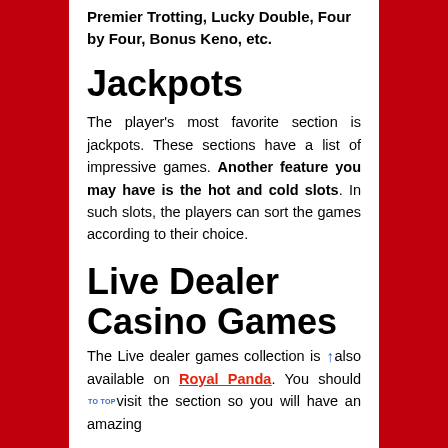Premier Trotting, Lucky Double, Four by Four, Bonus Keno, etc.
Jackpots
The player's most favorite section is jackpots. These sections have a list of impressive games. Another feature you may have is the hot and cold slots. In such slots, the players can sort the games according to their choice.
Live Dealer Casino Games
The Live dealer games collection is also available on Royal Panda. You should visit the section so you will have an amazing